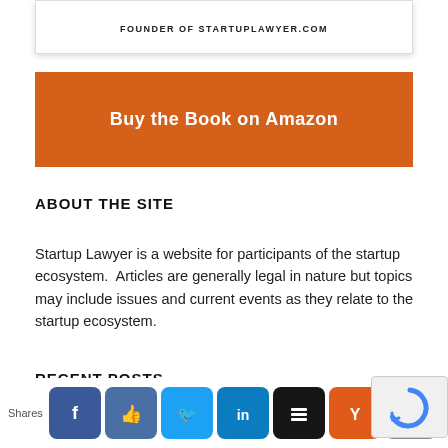FOUNDER OF STARTUPLAWYER.COM
[Figure (other): Orange button: Buy the Book on Amazon]
ABOUT THE SITE
Startup Lawyer is a website for participants of the startup ecosystem.  Articles are generally legal in nature but topics may include issues and current events as they relate to the startup ecosystem.
RECENT POSTS
[Figure (other): Social sharing bar with icons: Facebook, Like, Twitter, LinkedIn, Buffer, Hacker News, Mail. Shares label on left. reCAPTCHA widget on right.]